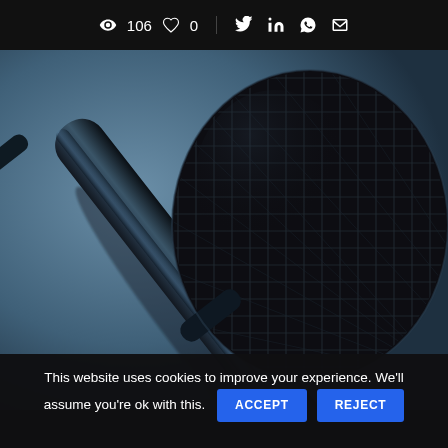👁 106  ♡ 0  | Twitter LinkedIn WhatsApp Email
[Figure (photo): Close-up photograph of a black handheld microphone against a blue-grey background]
This website uses cookies to improve your experience. We'll assume you're ok with this. ACCEPT REJECT